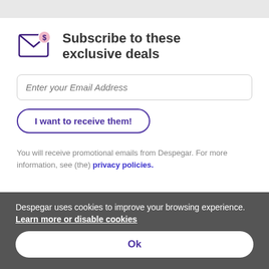Subscribe to these exclusive deals
Enter your Email Address
I want to receive them!
You will receive promotional emails from Despegar. For more information, see (the) privacy policies.
Despegar uses cookies to improve your browsing experience.
Learn more or disable cookies
Ok